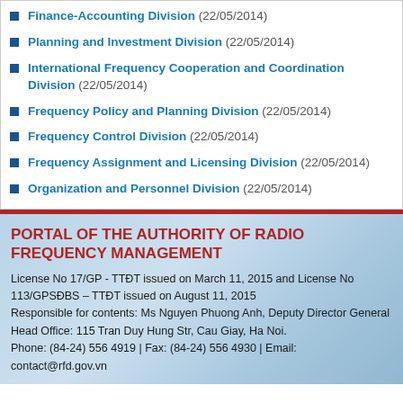Finance-Accounting Division (22/05/2014)
Planning and Investment Division (22/05/2014)
International Frequency Cooperation and Coordination Division (22/05/2014)
Frequency Policy and Planning Division (22/05/2014)
Frequency Control Division (22/05/2014)
Frequency Assignment and Licensing Division (22/05/2014)
Organization and Personnel Division (22/05/2014)
PORTAL OF THE AUTHORITY OF RADIO FREQUENCY MANAGEMENT
License No 17/GP - TTĐT issued on March 11, 2015 and License No 113/GPSĐBS – TTĐT issued on August 11, 2015
Responsible for contents: Ms Nguyen Phuong Anh, Deputy Director General
Head Office: 115 Tran Duy Hung Str, Cau Giay, Ha Noi.
Phone: (84-24) 556 4919 | Fax: (84-24) 556 4930 | Email: contact@rfd.gov.vn